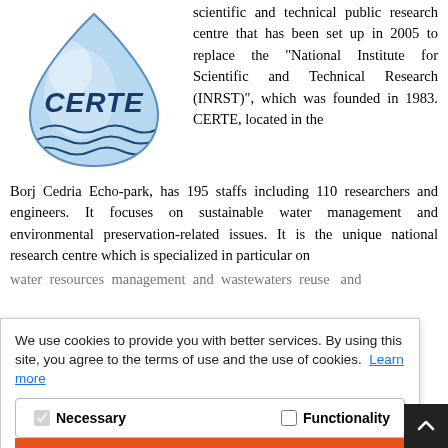[Figure (logo): CERTE logo: water droplet shape in light blue with wave lines and text CERTE in dark blue]
scientific and technical public research centre that has been set up in 2005 to replace the “National Institute for Scientific and Technical Research (INRST)”, which was founded in 1983. CERTE, located in the Borj Cedria Echo-park, has 195 staffs including 110 researchers and engineers. It focuses on sustainable water management and environmental preservation-related issues. It is the unique national research centre which is specialized in particular on water resources management and wastewaters reuse and [partially obscured] ...aying ...onal research and knowledge transfer at national and regional levels. It is considered as the pioneer in ...and demonstration ...ening ...waste...related...areas...while coordinating...CERTE...has resources integrated management in general and local
We use cookies to provide you with better services. By using this site, you agree to the terms of use and the use of cookies. Learn more